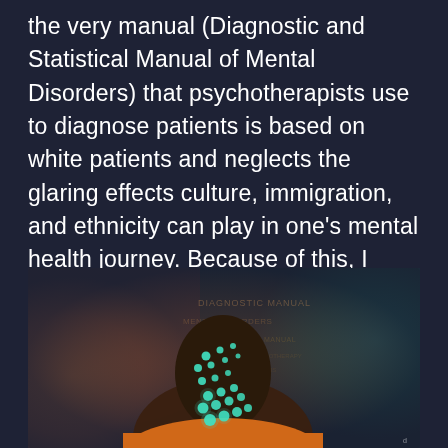the very manual (Diagnostic and Statistical Manual of Mental Disorders) that psychotherapists use to diagnose patients is based on white patients and neglects the glaring effects culture, immigration, and ethnicity can play in one's mental health journey. Because of this, I wanted to raise awareness in a way that could potentially appeal to a mass audience: fine art photography.
[Figure (photo): Fine art photography showing a person with glowing teal/cyan dots on their face and neck, wearing an orange garment, against a blurred colorful background with teal and warm tones, with faded text visible in the background.]